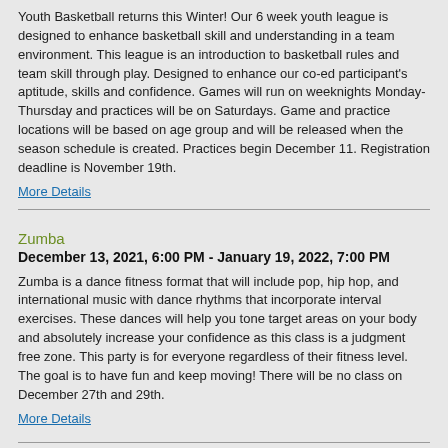Youth Basketball returns this Winter! Our 6 week youth league is designed to enhance basketball skill and understanding in a team environment. This league is an introduction to basketball rules and team skill through play. Designed to enhance our co-ed participant's aptitude, skills and confidence. Games will run on weeknights Monday-Thursday and practices will be on Saturdays. Game and practice locations will be based on age group and will be released when the season schedule is created. Practices begin December 11. Registration deadline is November 19th.
More Details
Zumba
December 13, 2021, 6:00 PM - January 19, 2022, 7:00 PM
Zumba is a dance fitness format that will include pop, hip hop, and international music with dance rhythms that incorporate interval exercises. These dances will help you tone target areas on your body and absolutely increase your confidence as this class is a judgment free zone. This party is for everyone regardless of their fitness level. The goal is to have fun and keep moving! There will be no class on December 27th and 29th.
More Details
K9: Intro to Canine Fitness
January 3, 2022, 5:30 PM - February 7, 2022, 6:20 PM
Did you know?...Keeping your dog fit, flexible, and mentally stimulated helps extend their lifespan and quality of life? In this class we will explore the foundation elements and principles behind canine fitness work...the how's, why's, in's, and outs of all things fitness related. There will be a few props/equipment needs